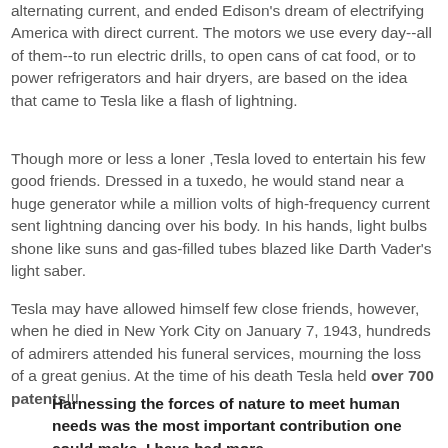alternating current, and ended Edison's dream of electrifying America with direct current. The motors we use every day--all of them--to run electric drills, to open cans of cat food, or to power refrigerators and hair dryers, are based on the idea that came to Tesla like a flash of lightning.
Though more or less a loner ,Tesla loved to entertain his few good friends. Dressed in a tuxedo, he would stand near a huge generator while a million volts of high-frequency current sent lightning dancing over his body. In his hands, light bulbs shone like suns and gas-filled tubes blazed like Darth Vader's light saber.
Tesla may have allowed himself few close friends, however, when he died in New York City on January 7, 1943, hundreds of admirers attended his funeral services, mourning the loss of a great genius. At the time of his death Tesla held over 700 patents!!!
Harnessing the forces of nature to meet human needs was the most important contribution one could make. I have had more